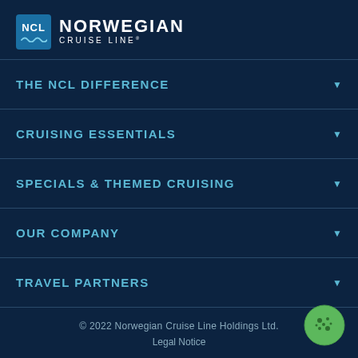[Figure (logo): Norwegian Cruise Line logo with NCL badge and wave icon]
THE NCL DIFFERENCE
CRUISING ESSENTIALS
SPECIALS & THEMED CRUISING
OUR COMPANY
TRAVEL PARTNERS
© 2022 Norwegian Cruise Line Holdings Ltd.
Legal Notice